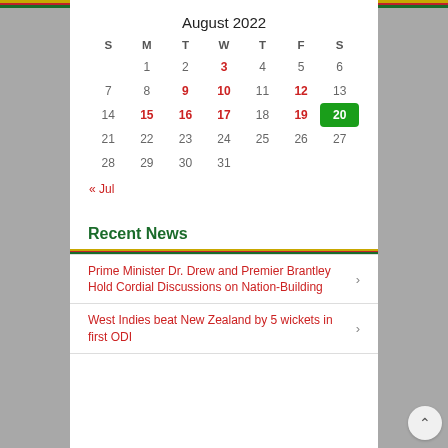August 2022
| S | M | T | W | T | F | S |
| --- | --- | --- | --- | --- | --- | --- |
|  | 1 | 2 | 3 | 4 | 5 | 6 |
| 7 | 8 | 9 | 10 | 11 | 12 | 13 |
| 14 | 15 | 16 | 17 | 18 | 19 | 20 |
| 21 | 22 | 23 | 24 | 25 | 26 | 27 |
| 28 | 29 | 30 | 31 |  |  |  |
« Jul
Recent News
Prime Minister Dr. Drew and Premier Brantley Hold Cordial Discussions on Nation-Building
West Indies beat New Zealand by 5 wickets in first ODI